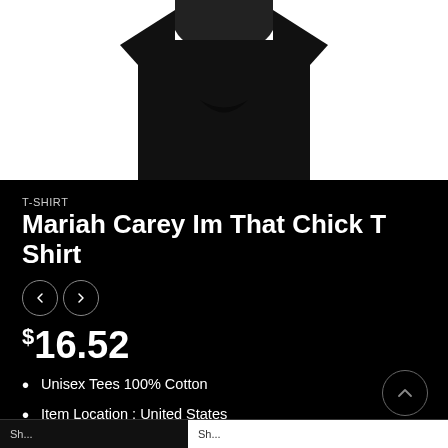[Figure (photo): Black t-shirt product photo on white/black background]
T-SHIRT
Mariah Carey Im That Chick T Shirt
$16.52
Unisex Tees 100% Cotton
Item Location : United States
Order Process : Monday – Friday business days
Ships To : United States And Worldwide